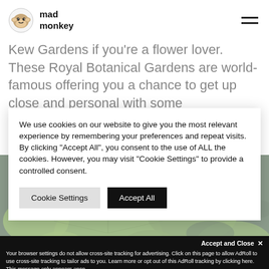mad monkey
Kew Gardens if you're a flower lover. These Royal Botanical Gardens are world-famous offering you a chance to get up close and personal with some
[Figure (photo): Close-up photograph of large green lily pads on water with a purple flower]
We use cookies on our website to give you the most relevant experience by remembering your preferences and repeat visits. By clicking "Accept All", you consent to the use of ALL the cookies. However, you may visit "Cookie Settings" to provide a controlled consent.
Cookie Settings   Accept All
Accept and Close ✕  Your browser settings do not allow cross-site tracking for advertising. Click on this page to allow AdRoll to use cross-site tracking to tailor ads to you. Learn more or opt out of this AdRoll tracking by clicking here. This message only appears once.